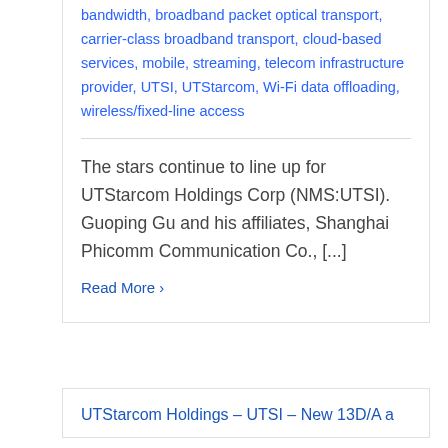bandwidth, broadband packet optical transport, carrier-class broadband transport, cloud-based services, mobile, streaming, telecom infrastructure provider, UTSI, UTStarcom, Wi-Fi data offloading, wireless/fixed-line access
The stars continue to line up for UTStarcom Holdings Corp (NMS:UTSI). Guoping Gu and his affiliates, Shanghai Phicomm Communication Co., [...]
Read More ›
UTStarcom Holdings – UTSI – New 13D/A a